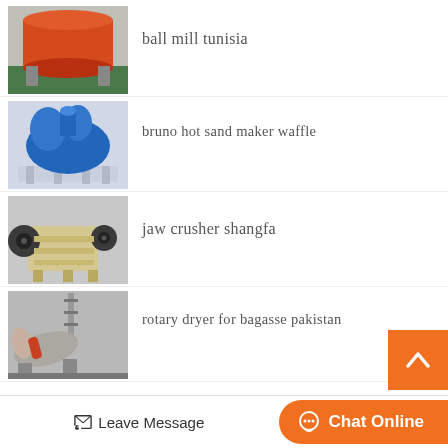[Figure (photo): Orange ball mill machine on green floor]
ball mill tunisia
[Figure (photo): Blue sand maker / VSI crusher machine]
bruno hot sand maker waffle
[Figure (photo): Jaw crusher machine in beige/tan color]
jaw crusher shangfa
[Figure (photo): Rotary dryer with tower structure]
rotary dryer for bagasse pakistan
Leave Message
Chat Online